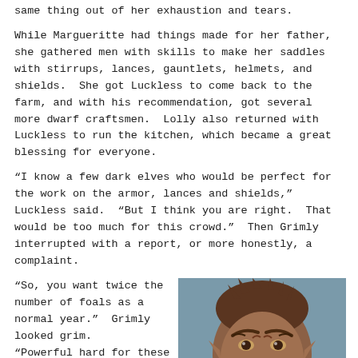same thing out of her exhaustion and tears.
While Margueritte had things made for her father, she gathered men with skills to make her saddles with stirrups, lances, gauntlets, helmets, and shields.  She got Luckless to come back to the farm, and with his recommendation, got several more dwarf craftsmen.  Lolly also returned with Luckless to run the kitchen, which became a great blessing for everyone.
“I know a few dark elves who would be perfect for the work on the armor, lances and shields,” Luckless said.  “But I think you are right.  That would be too much for this crowd.”  Then Grimly interrupted with a report, or more honestly, a complaint.
“So, you want twice the number of foals as a normal year.”  Grimly looked grim.
“Powerful hard for these poor horses.”
Under Grimly’s
[Figure (illustration): A detailed digital illustration of a fantasy creature resembling a goblin or dark elf with brown spiky hair, pointed ears, and an intense scowling expression, set against a muted blue-grey background.]